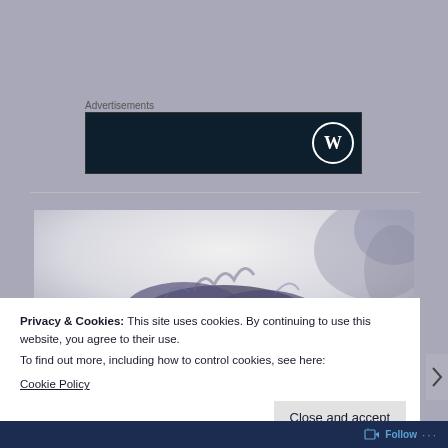Advertisements
[Figure (logo): WordPress advertisement banner — dark navy background with WordPress logo (W in circle) on the right side]
[Figure (photo): Artistic photo of dark ink or smoke dispersing in water, on a light grey/white background]
Privacy & Cookies: This site uses cookies. By continuing to use this website, you agree to their use.
To find out more, including how to control cookies, see here:
Cookie Policy
Close and accept
Follow